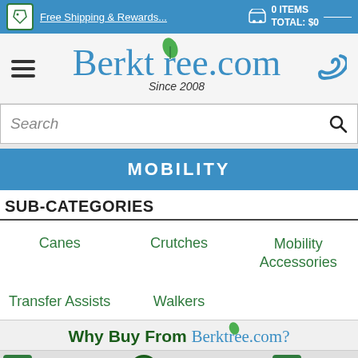Free Shipping & Rewards... | 0 ITEMS TOTAL: $0
[Figure (logo): Berktree.com logo with green leaf, Since 2008]
Search
MOBILITY
SUB-CATEGORIES
Canes
Crutches
Mobility Accessories
Transfer Assists
Walkers
Why Buy From Berktree.com?
MONEY BACK GUARANTEE
5% BACK AUTOMATICALLY
LOW PRICE GUARANTEE